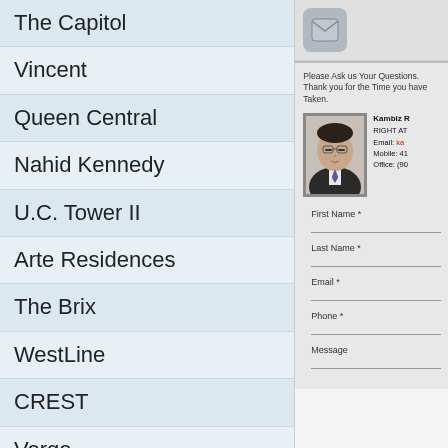The Capitol
Vincent
Queen Central
Nahid Kennedy
U.C. Tower II
Arte Residences
The Brix
WestLine
CREST
Verge
EX3
Danny Danforth
ALBA
Southport in Swansea
Gemma
[Figure (screenshot): App icon button in top right area]
Please Ask us Your Questions. Thank you for the Time you have Taken.
[Figure (photo): Agent photo - man in suit with glasses]
Kambiz R.
RIGHT AT
Email: ka...
Mobile: 41...
Office: (90...
First Name *
Last Name *
Email *
Phone *
Message